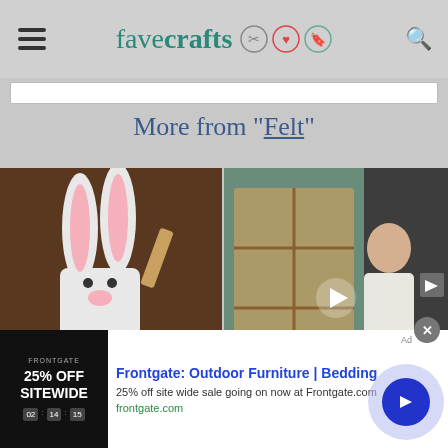favecrafts
More from "Felt"
[Figure (screenshot): Easter Bunny Napkin Rings craft project thumbnail showing a white bunny made from a cardboard tube with pink felt ears and a clothespin]
Easter Bunny Napkin Rings
[Figure (screenshot): Video player overlay showing a woman in a craft room with shelves of supplies, with play button and progress bar. Label: Magnet]
Magnet
[Figure (screenshot): Advertisement banner for Frontgate: Outdoor Furniture | Bedding with 25% off site wide sale]